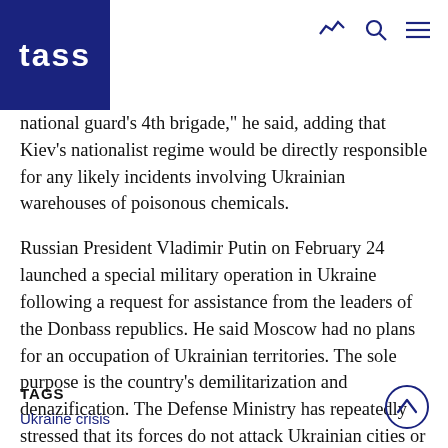TASS
national guard's 4th brigade," he said, adding that Kiev's nationalist regime would be directly responsible for any likely incidents involving Ukrainian warehouses of poisonous chemicals.
Russian President Vladimir Putin on February 24 launched a special military operation in Ukraine following a request for assistance from the leaders of the Donbass republics. He said Moscow had no plans for an occupation of Ukrainian territories. The sole purpose is the country's demilitarization and denazification. The Defense Ministry has repeatedly stressed that its forces do not attack Ukrainian cities or communities. The focus is entirely on military infrastructures. The civilian population is not at risk.
TAGS
Ukraine crisis